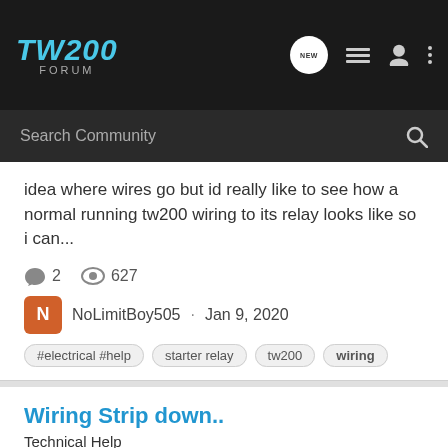TW200 FORUM
Search Community
idea where wires go but id really like to see how a normal running tw200 wiring to its relay looks like so i can...
2   627
NoLimitBoy505 · Jan 9, 2020
#electrical #help
starter relay
tw200
wiring
Wiring Strip down..
Technical Help
Hey guys, fresh to the page and the TW200 Game.. Just picked up a 1992 and want to simplify it by removing everything not needed.. Started tackling the spaghetti wiring mess last night but I figured i'd hop on here and ask the pros.. Basically I want to keep the headlight/taillight (Would